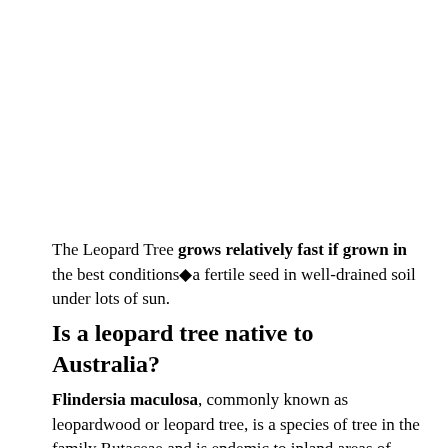The Leopard Tree grows relatively fast if grown in the best conditions◆a fertile seed in well-drained soil under lots of sun.
Is a leopard tree native to Australia?
Flindersia maculosa, commonly known as leopardwood or leopard tree, is a species of tree in the family Rutaceae and is endemic to inland areas of eastern Australia. It has mottled bark, simple leaves arranged in opposite pairs, white